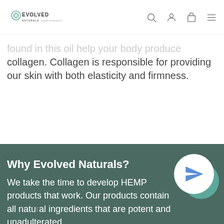EVOLVED NATURALS — [navigation icons: search, account, cart, menu]
found in this oil help your body produce collagen. Collagen is responsible for providing our skin with both elasticity and firmness.
Why Evolved Naturals?
We take the time to develop HEMP products that work. Our products contain all natural ingredients that are potent and unadulterated.
All of our ingredients are grown in America